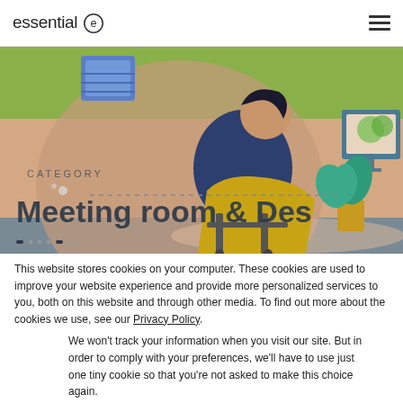essential © [hamburger menu]
[Figure (illustration): Website screenshot showing a category page for 'Meeting room & Desk' with an illustration of a person working at a desk with a plant and monitor in the background, on a green and beige illustrated background.]
This website stores cookies on your computer. These cookies are used to improve your website experience and provide more personalized services to you, both on this website and through other media. To find out more about the cookies we use, see our Privacy Policy.
We won't track your information when you visit our site. But in order to comply with your preferences, we'll have to use just one tiny cookie so that you're not asked to make this choice again.
Accept | Decline